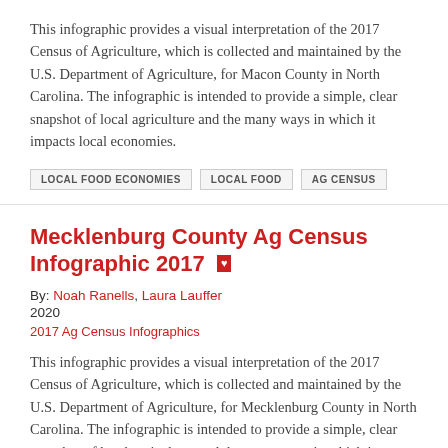This infographic provides a visual interpretation of the 2017 Census of Agriculture, which is collected and maintained by the U.S. Department of Agriculture, for Macon County in North Carolina. The infographic is intended to provide a simple, clear snapshot of local agriculture and the many ways in which it impacts local economies.
LOCAL FOOD ECONOMIES
LOCAL FOOD
AG CENSUS
Mecklenburg County Ag Census Infographic 2017
By: Noah Ranells, Laura Lauffer
2020
2017 Ag Census Infographics
This infographic provides a visual interpretation of the 2017 Census of Agriculture, which is collected and maintained by the U.S. Department of Agriculture, for Mecklenburg County in North Carolina. The infographic is intended to provide a simple, clear snapshot of local agriculture and the many ways in which it impacts local economies.